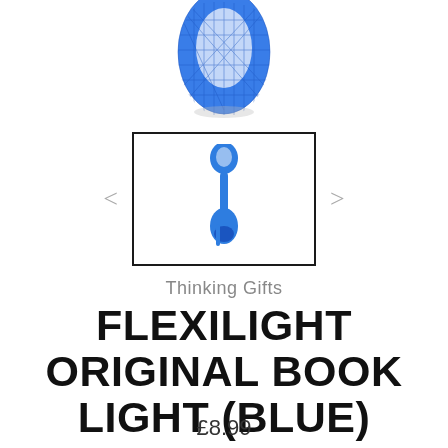[Figure (photo): Blue Flexilight book light product image, top portion visible, teardrop/leaf shape with geometric pattern in blue and white]
[Figure (photo): Thumbnail image of blue Flexilight book light in a square bordered frame, with left and right navigation arrows on either side]
Thinking Gifts
FLEXILIGHT ORIGINAL BOOK LIGHT (BLUE)
£8.99